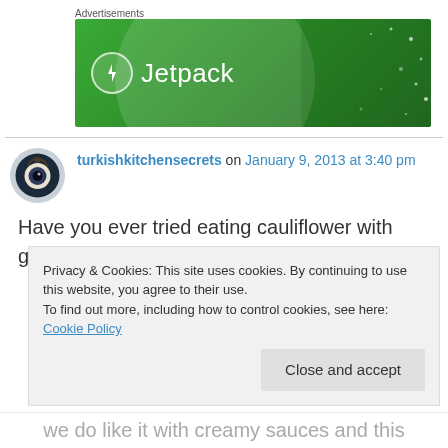Advertisements
[Figure (logo): Jetpack advertisement banner — green background with Jetpack logo and text]
turkishkitchensecrets on January 9, 2013 at 3:40 pm
Have you ever tried eating cauliflower with garlick yoghurd….try it…you will love it…
Privacy & Cookies: This site uses cookies. By continuing to use this website, you agree to their use.
To find out more, including how to control cookies, see here: Cookie Policy
Close and accept
we do like it with creamy sauces and this